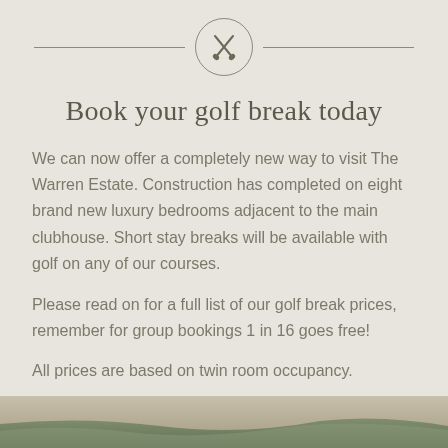[Figure (illustration): Circular icon with two crossed golf clubs, flanked by horizontal divider lines on each side]
Book your golf break today
We can now offer a completely new way to visit The Warren Estate. Construction has completed on eight brand new luxury bedrooms adjacent to the main clubhouse. Short stay breaks will be available with golf on any of our courses.
Please read on for a full list of our golf break prices, remember for group bookings 1 in 16 goes free!
All prices are based on twin room occupancy.
[Figure (photo): Partial photo of a golf course or estate grounds visible at the bottom of the page]